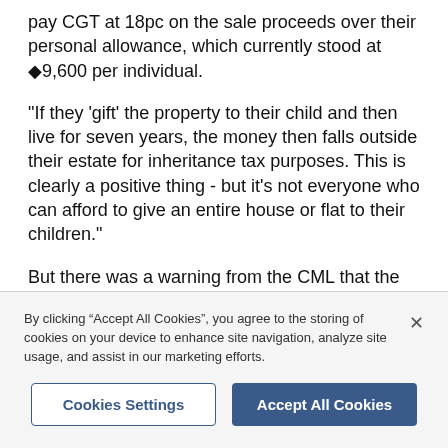pay CGT at 18pc on the sale proceeds over their personal allowance, which currently stood at £9,600 per individual.
"If they 'gift' the property to their child and then live for seven years, the money then falls outside their estate for inheritance tax purposes. This is clearly a positive thing - but it's not everyone who can afford to give an entire house or flat to their children."
But there was a warning from the CML that the terms of any joint financial arrangements should be agreed by all parties at the outset.
By clicking "Accept All Cookies", you agree to the storing of cookies on your device to enhance site navigation, analyze site usage, and assist in our marketing efforts.